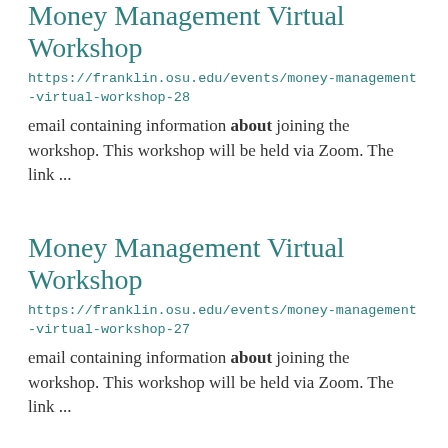Money Management Virtual Workshop
https://franklin.osu.edu/events/money-management-virtual-workshop-28
email containing information about joining the workshop. This workshop will be held via Zoom. The link ...
Money Management Virtual Workshop
https://franklin.osu.edu/events/money-management-virtual-workshop-27
email containing information about joining the workshop. This workshop will be held via Zoom. The link ...